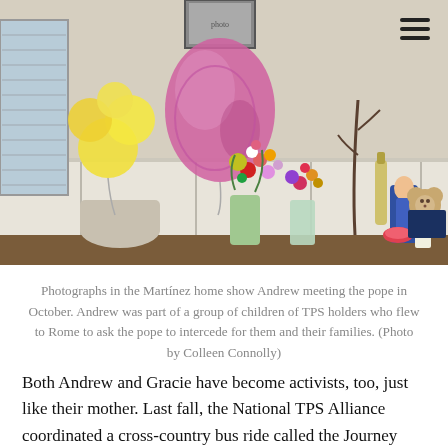[Figure (photo): A room corner with flowers, balloons, and religious items on a table. A yellow and pink balloon bouquet is on the left, a large pink marbled mylar balloon in the center-left, colorful flower arrangements in the middle, and a Virgin Mary figurine, teddy bear, and candle on the right. A framed photograph hangs on the wall above, and a window with blinds is on the left.]
Photographs in the Martínez home show Andrew meeting the pope in October. Andrew was part of a group of children of TPS holders who flew to Rome to ask the pope to intercede for them and their families. (Photo by Colleen Connolly)
Both Andrew and Gracie have become activists, too, just like their mother. Last fall, the National TPS Alliance coordinated a cross-country bus ride called the Journey